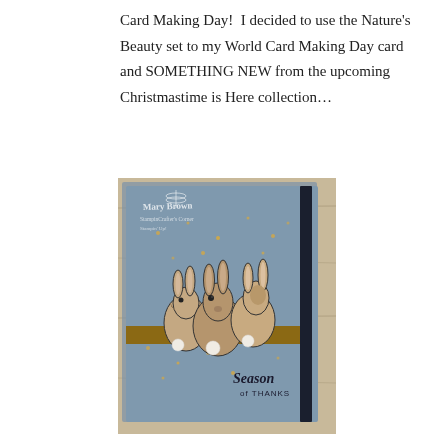Card Making Day!  I decided to use the Nature's Beauty set to my World Card Making Day card and SOMETHING NEW from the upcoming Christmastime is Here collection…
[Figure (photo): A handmade greeting card with a blue/slate background featuring three illustrated rabbits stamped in black ink and colored with brown tones, sitting together. The card has a dark navy ribbon/band running vertically on the right side and a gold/bronze horizontal band in the middle. Small gold dot accents are scattered across the card face. Text reads 'Season of THANKS' in script and serif lettering at the bottom right. A watermark reads 'Mary Brown StampinCrafter's Corner Stampin Up!' in the upper left. The card is photographed leaning against a light wood background.]